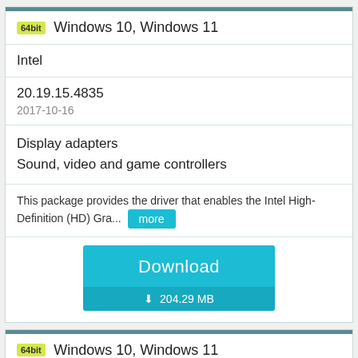64bit  Windows 10, Windows 11
Intel
20.19.15.4835
2017-10-16
Display adapters
Sound, video and game controllers
This package provides the driver that enables the Intel High-Definition (HD) Gra... more
Download
204.29 MB
64bit  Windows 10, Windows 11